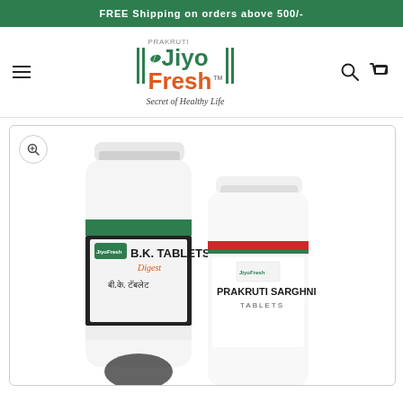FREE Shipping on orders above 500/-
[Figure (logo): Prakruti Jiyo Fresh logo with tagline 'Secret of Healthy Life' and TM mark, flanked by vertical green bars and a leaf icon]
[Figure (photo): Two white supplement/tablet bottles: 'B.K. TABLETS Digest' (green and dark label, Hindi text 'बी.के. टॅबलेट') and 'PRAKRUTI SARGHNI TABLETS' with Jiyo Fresh logo, partially cropped at bottom]